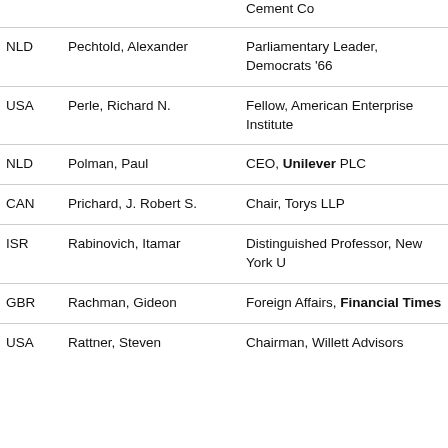| Country | Name | Title |
| --- | --- | --- |
|  |  | Cement Co |
| NLD | Pechtold, Alexander | Parliamentary Leader, Democrats '66 |
| USA | Perle, Richard N. | Fellow, American Enterprise Institute |
| NLD | Polman, Paul | CEO, Unilever PLC |
| CAN | Prichard, J. Robert S. | Chair, Torys LLP |
| ISR | Rabinovich, Itamar | Distinguished Professor, New York U |
| GBR | Rachman, Gideon | Foreign Affairs, Financial Times |
| USA | Rattner, Steven | Chairman, Willett Advisors |